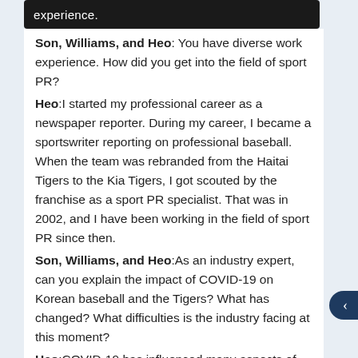experience.
Son, Williams, and Heo: You have diverse work experience. How did you get into the field of sport PR?
Heo: I started my professional career as a newspaper reporter. During my career, I became a sportswriter reporting on professional baseball. When the team was rebranded from the Haitai Tigers to the Kia Tigers, I got scouted by the franchise as a sport PR specialist. That was in 2002, and I have been working in the field of sport PR since then.
Son, Williams, and Heo: As an industry expert, can you explain the impact of COVID-19 on Korean baseball and the Tigers? What has changed? What difficulties is the industry facing at this moment?
Heo: COVID-19 has influenced many aspects of our lives, especially the world of sports, which typically involves large crowds including fans and players. Notably, the